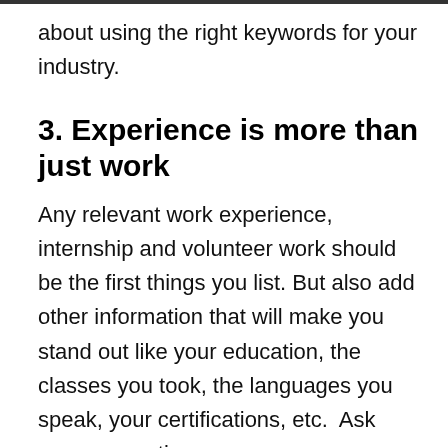about using the right keywords for your industry.
3. Experience is more than just work
Any relevant work experience, internship and volunteer work should be the first things you list. But also add other information that will make you stand out like your education, the classes you took, the languages you speak, your certifications, etc.  Ask your connections